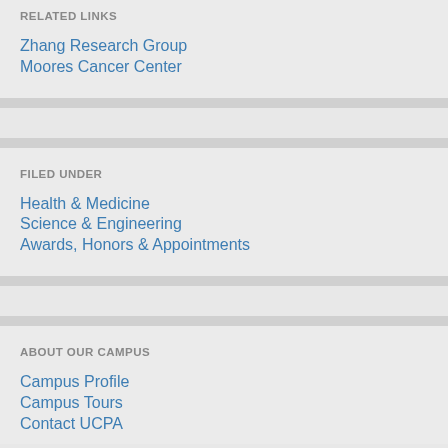RELATED LINKS
Zhang Research Group
Moores Cancer Center
FILED UNDER
Health & Medicine
Science & Engineering
Awards, Honors & Appointments
ABOUT OUR CAMPUS
Campus Profile
Campus Tours
Contact UCPA